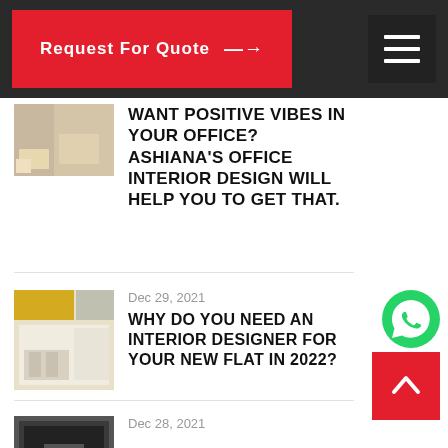Request For Quote →
WANT POSITIVE VIBES IN YOUR OFFICE? ASHIANA'S OFFICE INTERIOR DESIGN WILL HELP YOU TO GET THAT.
Dec 29, 2021
WHY DO YOU NEED AN INTERIOR DESIGNER FOR YOUR NEW FLAT IN 2022?
Dec 28, 2021